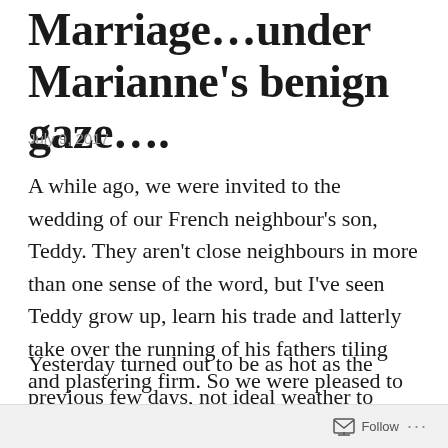Marriage…in under Marianne's benign gaze….
July 9, 2017
A while ago, we were invited to the wedding of our French neighbour's son, Teddy. They aren't close neighbours in more than one sense of the word, but I've seen Teddy grow up, learn his trade and latterly take over the running of his fathers tiling and plastering firm. So we were pleased to receive and accept the invitation.
Yesterday turned out to be as hot as the previous few days, not ideal weather to assemble dozens of adults and children and jam them into an
Follow …